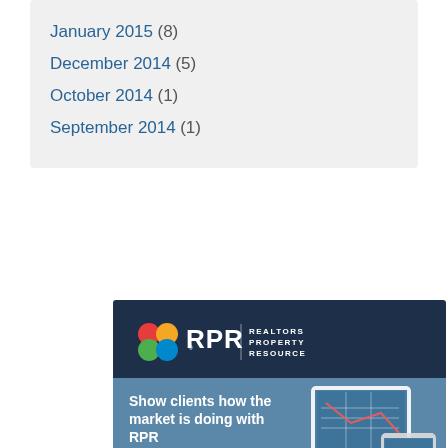January 2015 (8)
December 2014 (5)
October 2014 (1)
September 2014 (1)
[Figure (illustration): RPR (Realtors Property Resource) advertisement banner. Dark navy header with RPR logo and 'REALTORS PROPERTY RESOURCE' text. Blue body with text 'Show clients how the market is doing with RPR', bullet points for 'Live Market Trends' and 'On-and-off market', and device images (tablet and phone) on the right.]